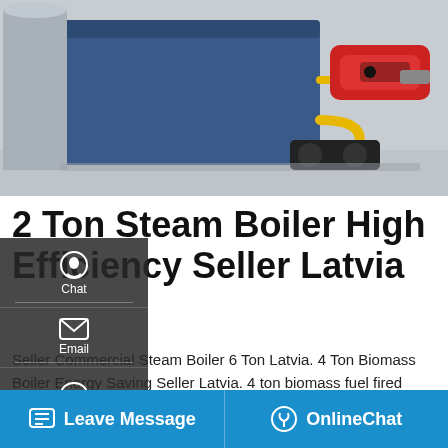[Figure (photo): Industrial steam boiler with red burner and yellow piping in a facility]
2 Ton Steam Boiler High Efficiency Seller Latvia
Seller Commercial Steam Boiler 6 Ton Latvia. 4 Ton Biomass Boiler Energy Saving Seller Latvia. 4 ton biomass fuel fired steam boiler. 4 ton steam boiler. Kefid · The 4 ton steam boiler pressure ratings run up to 2.5Mpa and steam temperatures up to 184 Oil Fired Thermal Fluid Heater Group is an authorized representative for. We have experience
[Figure (screenshot): WhatsApp sticker save popup with phone and emoji icons]